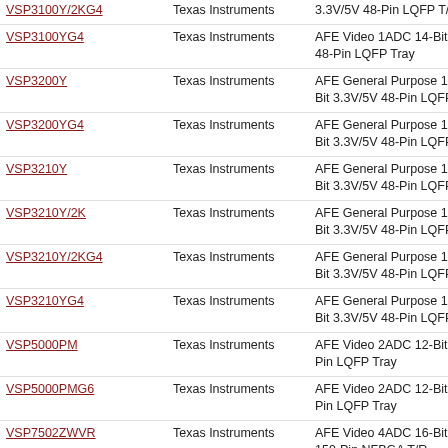| Part | Manufacturer | Description | Link |
| --- | --- | --- | --- |
| VSP3100Y/2KG4 | Texas Instruments | 3.3V/5V 48-Pin LQFP T/R | http://fc |
| VSP3100YG4 | Texas Instruments | AFE Video 1ADC 14-Bit 3.3V/5V 48-Pin LQFP Tray | http://fc |
| VSP3200Y | Texas Instruments | AFE General Purpose 1ADC 16-Bit 3.3V/5V 48-Pin LQFP Tray | http://fc |
| VSP3200YG4 | Texas Instruments | AFE General Purpose 1ADC 16-Bit 3.3V/5V 48-Pin LQFP Tray | http://fc |
| VSP3210Y | Texas Instruments | AFE General Purpose 1ADC 16-Bit 3.3V/5V 48-Pin LQFP Tray | http://fc |
| VSP3210Y/2K | Texas Instruments | AFE General Purpose 1ADC 16-Bit 3.3V/5V 48-Pin LQFP T/R | http://fc |
| VSP3210Y/2KG4 | Texas Instruments | AFE General Purpose 1ADC 16-Bit 3.3V/5V 48-Pin LQFP T/R | http://fc |
| VSP3210YG4 | Texas Instruments | AFE General Purpose 1ADC 16-Bit 3.3V/5V 48-Pin LQFP Tray | http://fc |
| VSP5000PM | Texas Instruments | AFE Video 2ADC 12-Bit 3.3V 64-Pin LQFP Tray | http://fc |
| VSP5000PMG6 | Texas Instruments | AFE Video 2ADC 12-Bit 3.3V 64-Pin LQFP Tray | http://fc |
| VSP7502ZWVR | Texas Instruments | AFE Video 4ADC 16-Bit 1.8V/3.3V 159-Pin NFBGA T/R | http://fc |